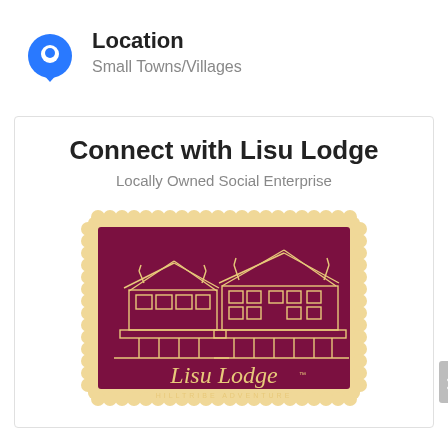Location
Small Towns/Villages
Connect with Lisu Lodge
Locally Owned Social Enterprise
[Figure (logo): Lisu Lodge stamp-style logo on dark maroon/burgundy background with scalloped edges, showing traditional Thai hilltribe stilt house buildings drawn in gold/yellow lines, with text 'Lisu Lodge' in cursive and 'HILLTRIBE ADVENTURE' below]
[Figure (other): Back to top button with double chevron up arrow on grey background]